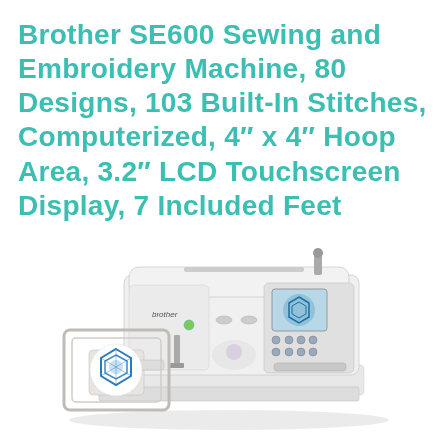Brother SE600 Sewing and Embroidery Machine, 80 Designs, 103 Built-In Stitches, Computerized, 4″ x 4″ Hoop Area, 3.2″ LCD Touchscreen Display, 7 Included Feet
[Figure (photo): Brother SE600 sewing and embroidery machine in white, shown at an angle with the embroidery hoop attached on the left containing a blue decorative design, and the touchscreen LCD panel visible on the right side of the machine.]